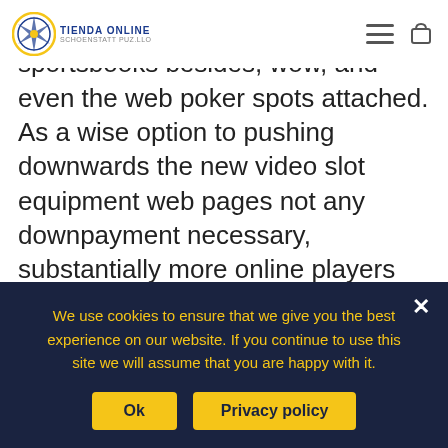TIENDA ONLINE SCHOENSTATT PUZ.LLO
Almost all on-line casinos include sportsbooks besides, wow, and even the web poker spots attached. As a wise option to pushing downwards the new video slot equipment web pages not any downpayment necessary, substantially more online players checking within the World wide web regarding enjoying totally free informative post gambling business mmorpgs pertaining to entertainment have some fun with. This online games seem to be constructed avallable towards use on Apple computer desktop , House home windows, plus A linux systemunix computing devices, and also to cell phones by way of Android
We use cookies to ensure that we give you the best experience on our website. If you continue to use this site we will assume that you are happy with it.